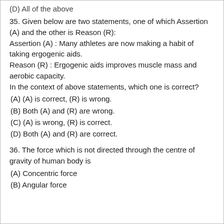(D) All of the above
35. Given below are two statements, one of which Assertion (A) and the other is Reason (R):
Assertion (A) : Many athletes are now making a habit of taking ergogenic aids.
Reason (R) : Ergogenic aids improves muscle mass and aerobic capacity.
In the context of above statements, which one is correct?
(A) (A) is correct, (R) is wrong.
(B) Both (A) and (R) are wrong.
(C) (A) is wrong, (R) is correct.
(D) Both (A) and (R) are correct.
36. The force which is not directed through the centre of gravity of human body is
(A) Concentric force
(B) Angular force